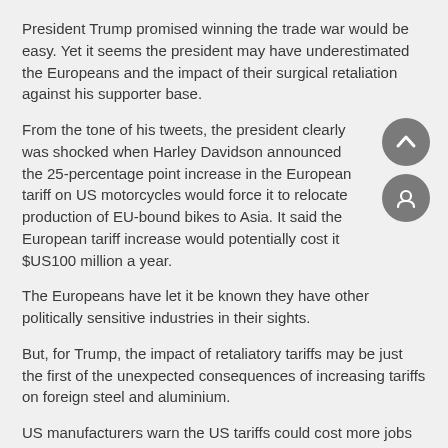President Trump promised winning the trade war would be easy. Yet it seems the president may have underestimated the Europeans and the impact of their surgical retaliation against his supporter base.
From the tone of his tweets, the president clearly was shocked when Harley Davidson announced the 25-percentage point increase in the European tariff on US motorcycles would force it to relocate production of EU-bound bikes to Asia. It said the European tariff increase would potentially cost it $US100 million a year.
The Europeans have let it be known they have other politically sensitive industries in their sights.
But, for Trump, the impact of retaliatory tariffs may be just the first of the unexpected consequences of increasing tariffs on foreign steel and aluminium.
US manufacturers warn the US tariffs could cost more jobs than they save because the higher cost of steel and